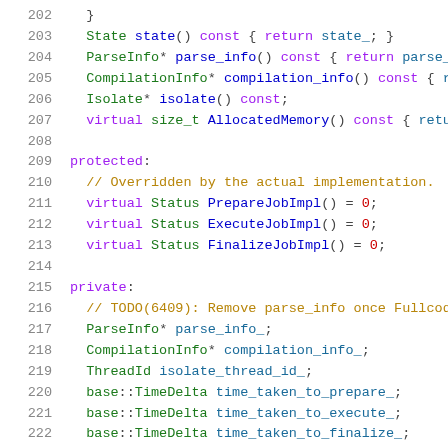[Figure (screenshot): C++ source code listing showing lines 202–222 of a class definition. Lines include closing brace, state/parse/compilation/isolate/AllocatedMemory accessors, protected section with virtual PrepareJobImpl/ExecuteJobImpl/FinalizeJobImpl, and private section with member variables parse_info_, compilation_info_, isolate_thread_id_, time_taken_to_prepare_, time_taken_to_execute_, time_taken_to_finalize_.]